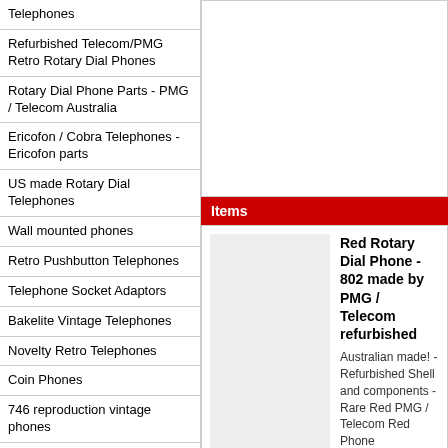Telephones
Refurbished Telecom/PMG Retro Rotary Dial Phones
Rotary Dial Phone Parts - PMG / Telecom Australia
Ericofon / Cobra Telephones - Ericofon parts
US made Rotary Dial Telephones
Wall mounted phones
Retro Pushbutton Telephones
Telephone Socket Adaptors
Bakelite Vintage Telephones
Novelty Retro Telephones
Coin Phones
746 reproduction vintage phones
302 reproduction vintage phones
2500 Western Electic - Bell reproduction vintage phones
Information
How to pay for your purchase
Posting and Shipping
NBN what phones work
Where will these PMG Telecom Retro Dial Phones and ...
Items
Red Rotary Dial Phone - 802 made by PMG / Telecom refurbished
Australian made! - Refurbished Shell and components - Rare Red PMG / Telecom Red Phone
Price: $365.00
This item is out of stock